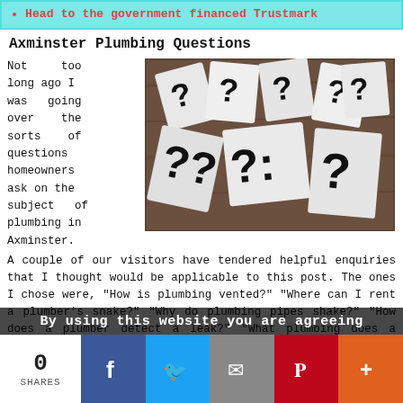Head to the government financed Trustmark
Axminster Plumbing Questions
Not too long ago I was going over the sorts of questions homeowners ask on the subject of plumbing in Axminster.
[Figure (photo): Scattered white paper cards with bold question mark symbols on a dark wooden surface]
A couple of our visitors have tendered helpful enquiries that I thought would be applicable to this post. The ones I chose were, "How is plumbing vented?" "Where can I rent a plumber's snake?" "Why do plumbing pipes shake?" "How does a plumber detect a leak?" "What plumbing does a dishwasher need?" "Should a plumber charge VAT?", and "Why do central heating radiators click?" I hope you'll agree that nearly all of
By using this website you are agreeing
0
SHARES